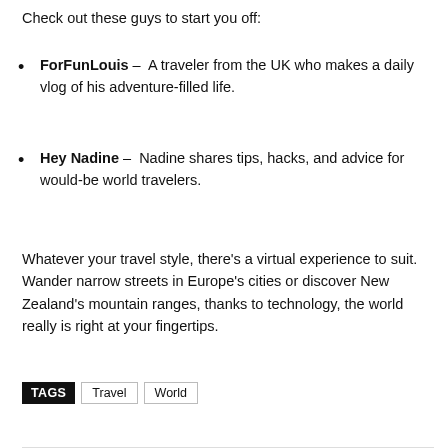Check out these guys to start you off:
ForFunLouis – A traveler from the UK who makes a daily vlog of his adventure-filled life.
Hey Nadine – Nadine shares tips, hacks, and advice for would-be world travelers.
Whatever your travel style, there’s a virtual experience to suit. Wander narrow streets in Europe’s cities or discover New Zealand’s mountain ranges, thanks to technology, the world really is right at your fingertips.
TAGS  Travel  World